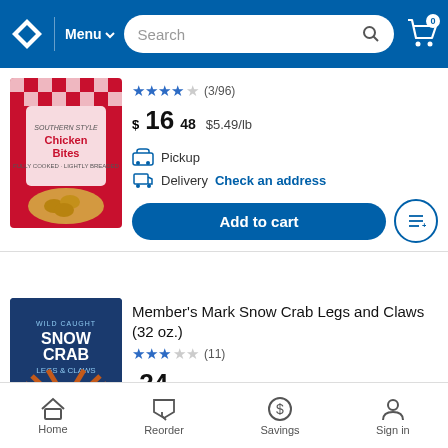Menu Search Cart 0
[Figure (screenshot): Chicken Bites product packaging image - Southern Style Chicken Bites bag with checkered red/white pattern]
★★★★☆ (3/96) $16.48 $5.49/lb
Pickup
Delivery Check an address
Add to cart
[Figure (screenshot): Member's Mark Wild Caught Snow Crab Legs and Claws 2lb bag packaging]
Member's Mark Snow Crab Legs and Claws (32 oz.)
★★★☆☆ (11) $24.98
Pickup
Home Reorder Savings Sign in